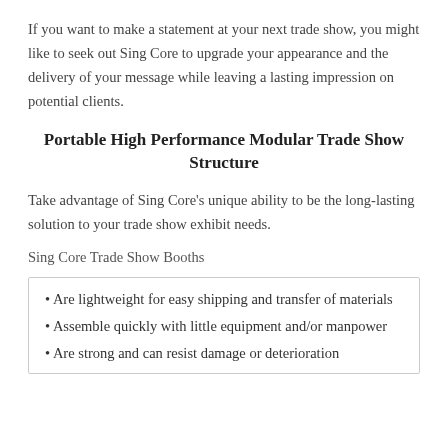If you want to make a statement at your next trade show, you might like to seek out Sing Core to upgrade your appearance and the delivery of your message while leaving a lasting impression on potential clients.
Portable High Performance Modular Trade Show Structure
Take advantage of Sing Core's unique ability to be the long-lasting solution to your trade show exhibit needs.
Sing Core Trade Show Booths
Are lightweight for easy shipping and transfer of materials
Assemble quickly with little equipment and/or manpower
Are strong and can resist damage or deterioration